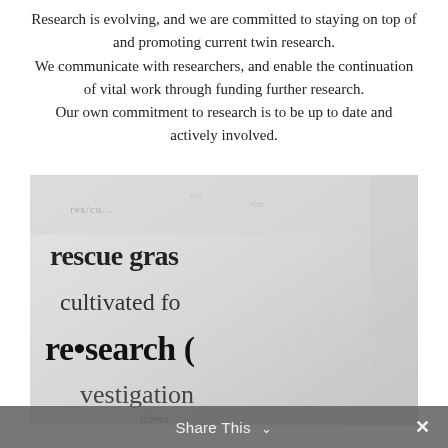Research is evolving, and we are committed to staying on top of and promoting current twin research. We communicate with researchers, and enable the continuation of vital work through funding further research. Our own commitment to research is to be up to date and actively involved.
[Figure (photo): Close-up black and white photograph of a dictionary page showing the word 're•search' in bold, along with partial words including 'rescue gras', 'cultivated fo', and 'vestigation'.]
Share This ∨  ✕